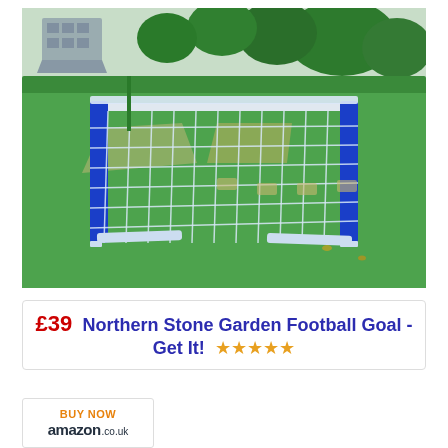[Figure (photo): A blue and silver metal football goal with white netting, set up on a green lawn in a park or garden setting with trees and pathways in the background.]
£39   Northern Stone Garden Football Goal - Get It!  ★★★★★
[Figure (logo): BUY NOW amazon.co.uk logo button]